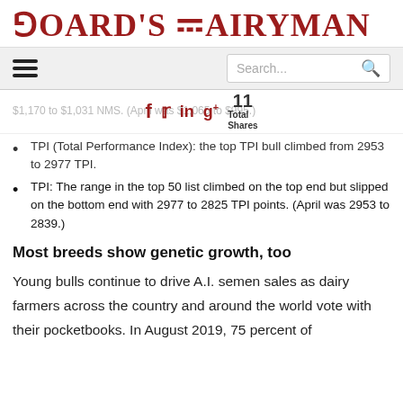HOARD'S DAIRYMAN
$1,170 to $1,031 NMS. (April was $1,065 to $995.)
TPI (Total Performance Index): the top TPI bull climbed from 2953 to 2977 TPI.
TPI: The range in the top 50 list climbed on the top end but slipped on the bottom end with 2977 to 2825 TPI points. (April was 2953 to 2839.)
Most breeds show genetic growth, too
Young bulls continue to drive A.I. semen sales as dairy farmers across the country and around the world vote with their pocketbooks. In August 2019, 75 percent of